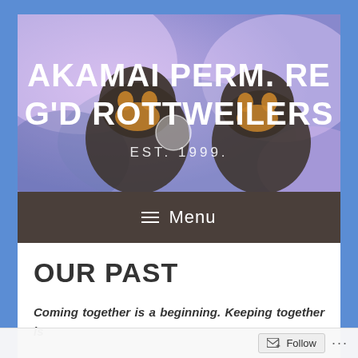[Figure (illustration): Banner image showing two Rottweiler dogs on a colorful purple/blue/pink painted background with bold white text overlay reading 'AKAMAI PERM. REG'D ROTTWEILERS' and 'EST. 1999.']
AKAMAI PERM. REG'D ROTTWEILERS EST. 1999.
≡ Menu
OUR PAST
Coming together is a beginning. Keeping together is